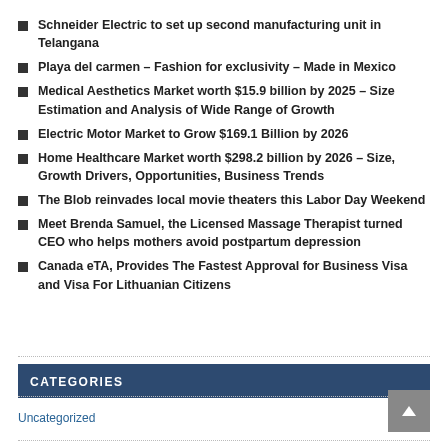Schneider Electric to set up second manufacturing unit in Telangana
Playa del carmen – Fashion for exclusivity – Made in Mexico
Medical Aesthetics Market worth $15.9 billion by 2025 – Size Estimation and Analysis of Wide Range of Growth
Electric Motor Market to Grow $169.1 Billion by 2026
Home Healthcare Market worth $298.2 billion by 2026 – Size, Growth Drivers, Opportunities, Business Trends
The Blob reinvades local movie theaters this Labor Day Weekend
Meet Brenda Samuel, the Licensed Massage Therapist turned CEO who helps mothers avoid postpartum depression
Canada eTA, Provides The Fastest Approval for Business Visa and Visa For Lithuanian Citizens
CATEGORIES
Uncategorized